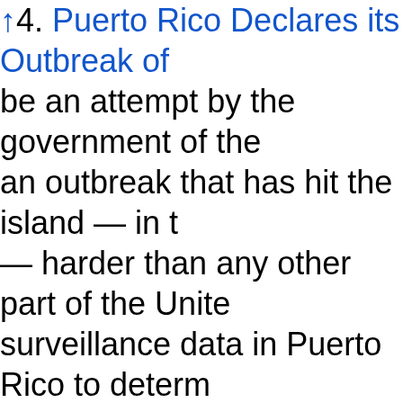↑4. Puerto Rico Declares its Outbreak of be an attempt by the government of the an outbreak that has hit the island — in t — harder than any other part of the Unite surveillance data in Puerto Rico to determ time, there are no plans to change CDC's Zika virus swept through the Americas la travel to a lengthening list of countries ar transmission in a number of these places very few places from the avoid while preg Puerto Rico. It was not that long ago that C Rico 170507-4↓ and there is still the proble mosquitoes have been controlled. I suspec